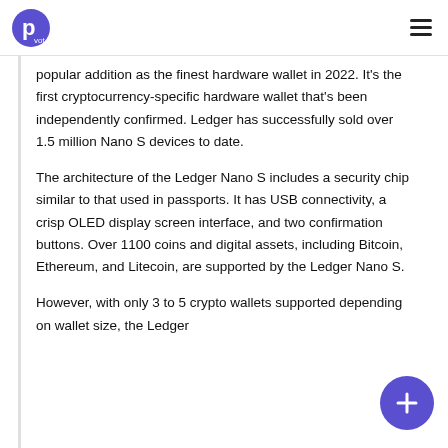Pivot logo and hamburger menu
popular addition as the finest hardware wallet in 2022. It's the first cryptocurrency-specific hardware wallet that's been independently confirmed. Ledger has successfully sold over 1.5 million Nano S devices to date.
The architecture of the Ledger Nano S includes a security chip similar to that used in passports. It has USB connectivity, a crisp OLED display screen interface, and two confirmation buttons. Over 1100 coins and digital assets, including Bitcoin, Ethereum, and Litecoin, are supported by the Ledger Nano S.
However, with only 3 to 5 crypto wallets supported depending on wallet size, the Ledger